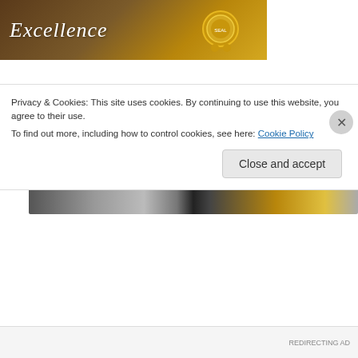[Figure (illustration): Book award banner with gold seal, dark wooden background, italic white text reading 'Excellence']
Winner of The USA Gold Seal of Literary Excellence 2013 – For An Omani???
Sponsored Content
[Figure (photo): Sponsored content image strip showing blurred indoor/nightlife scenes]
Privacy & Cookies: This site uses cookies. By continuing to use this website, you agree to their use.
To find out more, including how to control cookies, see here: Cookie Policy
Close and accept